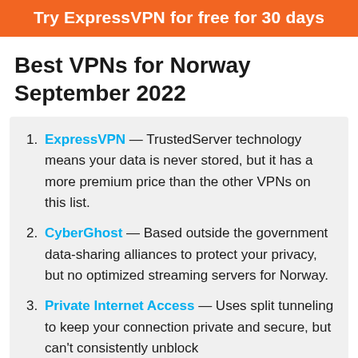Try ExpressVPN for free for 30 days
Best VPNs for Norway September 2022
ExpressVPN — TrustedServer technology means your data is never stored, but it has a more premium price than the other VPNs on this list.
CyberGhost — Based outside the government data-sharing alliances to protect your privacy, but no optimized streaming servers for Norway.
Private Internet Access — Uses split tunneling to keep your connection private and secure, but can't consistently unblock